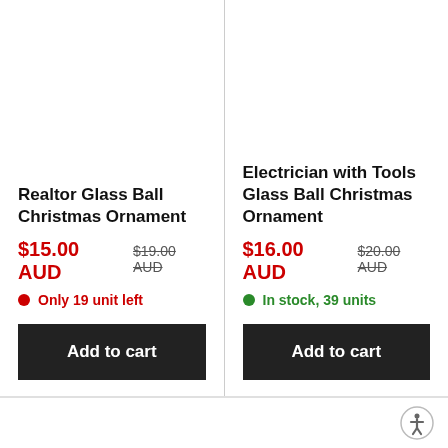Realtor Glass Ball Christmas Ornament
$15.00 AUD  $19.00 AUD
Only 19 unit left
Add to cart
Electrician with Tools Glass Ball Christmas Ornament
$16.00 AUD  $20.00 AUD
In stock, 39 units
Add to cart